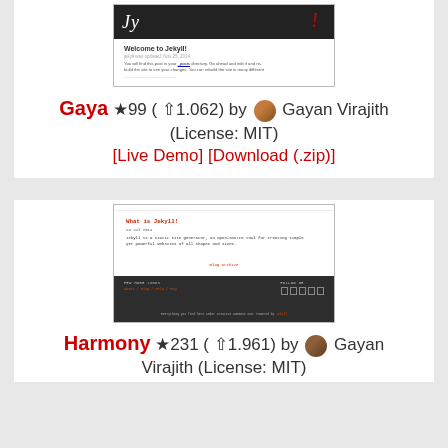[Figure (screenshot): Screenshot of a Jekyll theme called Gaya, showing a dark header bar with stylized script lettering, a blog post titled 'Welcome to Jekyll!' with a date and preview text]
Gaya ★99 ( ⇧1.062) by Gayan Virajith (License: MIT)
[Live Demo] [Download (.zip)]
[Figure (screenshot): Screenshot of a Jekyll theme called Harmony, showing a monospace/typewriter styled blog with a post titled 'What is Jekyll!' dated 29 Jul 2014, a dark footer with links and social icons]
Harmony ★231 ( ⇧1.961) by Gayan Virajith (License: MIT)